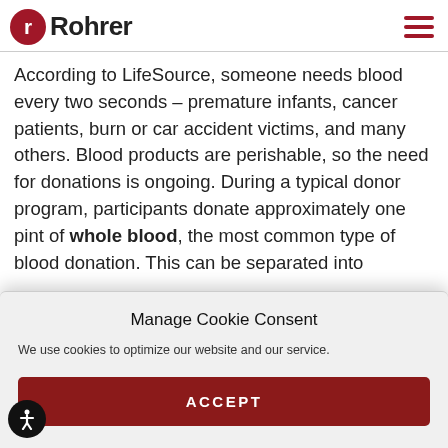Rohrer
According to LifeSource, someone needs blood every two seconds – premature infants, cancer patients, burn or car accident victims, and many others. Blood products are perishable, so the need for donations is ongoing. During a typical donor program, participants donate approximately one pint of whole blood, the most common type of blood donation. This can be separated into
Manage Cookie Consent
We use cookies to optimize our website and our service.
ACCEPT